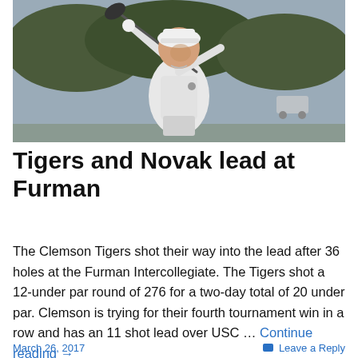[Figure (photo): A young male golfer in a white shirt and white cap mid-swing with a driver on a golf course, viewed from the side]
Tigers and Novak lead at Furman
The Clemson Tigers shot their way into the lead after 36 holes at the Furman Intercollegiate. The Tigers shot a 12-under par round of 276 for a two-day total of 20 under par. Clemson is trying for their fourth tournament win in a row and has an 11 shot lead over USC … Continue reading →
March 26, 2017   Leave a Reply